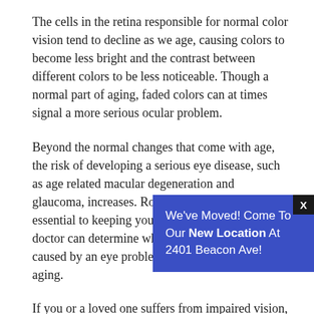The cells in the retina responsible for normal color vision tend to decline as we age, causing colors to become less bright and the contrast between different colors to be less noticeable. Though a normal part of aging, faded colors can at times signal a more serious ocular problem.
Beyond the normal changes that come with age, the risk of developing a serious eye disease, such as age related macular degeneration and glaucoma, increases. Routine eye exams are essential to keeping your eyes healthy. Your eye doctor can determine whether your symptoms are caused by an eye problem or are a normal part of aging.
If you or a loved one suffers from impaired vision, we can help. To find out more and to schedule your annual eye doctor's appointment, contact Peninsula Lifetime Eyecare Centre in Sidney today.
[Figure (infographic): Blue popup banner overlay with X close button. Text reads: We've Moved! Come To Our New Location At 2401 Beacon Ave!]